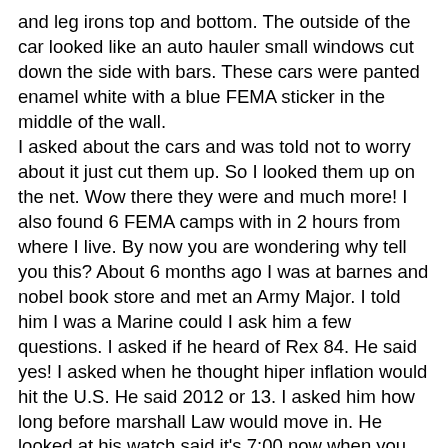and leg irons top and bottom. The outside of the car looked like an auto hauler small windows cut down the side with bars. These cars were panted enamel white with a blue FEMA sticker in the middle of the wall. I asked about the cars and was told not to worry about it just cut them up. So I looked them up on the net. Wow there they were and much more! I also found 6 FEMA camps with in 2 hours from where I live. By now you are wondering why tell you this? About 6 months ago I was at barnes and nobel book store and met an Army Major. I told him I was a Marine could I ask him a few questions. I asked if he heard of Rex 84. He said yes! I asked when he thought hiper inflation would hit the U.S. He said 2012 or 13. I asked him how long before marshall Law would move in. He looked at his watch said it's 7:00 now when you wake up there will be tanks in the streets. I told him I was putting food back. He said to put water back too enough for a year! Stay in your house load your guns and protect your home.He also said if your not ready when this happens it's to late. If you are found outside you will be put into a FEMA camp I'm asking everyone to get ready now. Hiper inflation is when the dollar colaspes you can't buy